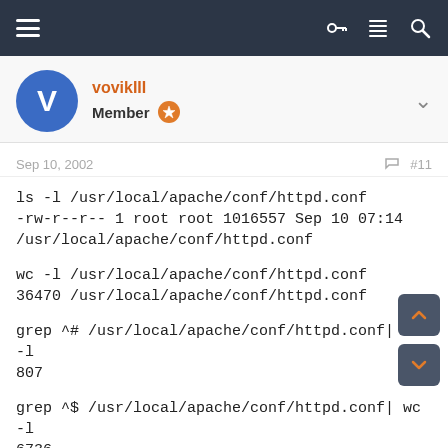vovikIII Member
Sep 10, 2002  #11
ls -l /usr/local/apache/conf/httpd.conf
-rw-r--r-- 1 root root 1016557 Sep 10 07:14 /usr/local/apache/conf/httpd.conf

wc -l /usr/local/apache/conf/httpd.conf
36470 /usr/local/apache/conf/httpd.conf

grep ^# /usr/local/apache/conf/httpd.conf| wc -l
807

grep ^$ /usr/local/apache/conf/httpd.conf| wc -l
6736

(!!! cpanel every time adds a lot of emty lines and fake NameVirtualHost directives - that is not good thing, but it is possible to live with it)